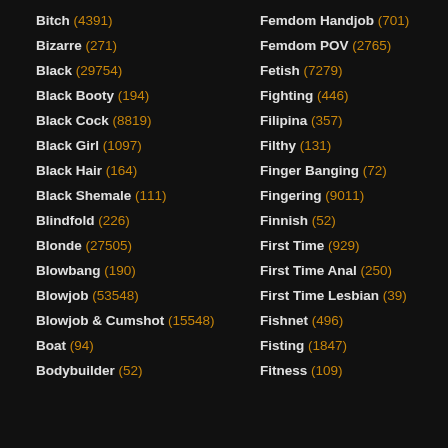Bitch (4391)
Bizarre (271)
Black (29754)
Black Booty (194)
Black Cock (8819)
Black Girl (1097)
Black Hair (164)
Black Shemale (111)
Blindfold (226)
Blonde (27505)
Blowbang (190)
Blowjob (53548)
Blowjob & Cumshot (15548)
Boat (94)
Bodybuilder (52)
Femdom Handjob (701)
Femdom POV (2765)
Fetish (7279)
Fighting (446)
Filipina (357)
Filthy (131)
Finger Banging (72)
Fingering (9011)
Finnish (52)
First Time (929)
First Time Anal (250)
First Time Lesbian (39)
Fishnet (496)
Fisting (1847)
Fitness (109)